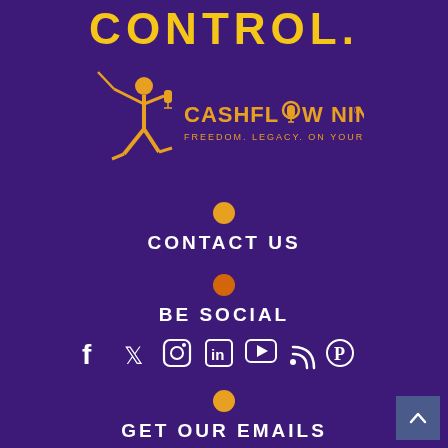CONTROL.
[Figure (logo): Cashflow Ninja logo with ninja figure holding sword and microphone, tagline: FREEDOM. LEGACY. ON YOUR TERMS.]
[Figure (infographic): Gold dot separator]
CONTACT US
[Figure (infographic): Orange dot separator]
BE SOCIAL
[Figure (infographic): Social media icons: Facebook, Twitter, Instagram, LinkedIn, YouTube, RSS, Pinterest]
[Figure (infographic): Gold dot separator]
GET OUR EMAILS